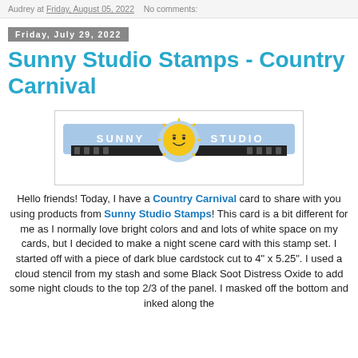Audrey at Friday, August 05, 2022   No comments:
Friday, July 29, 2022
Sunny Studio Stamps - Country Carnival
[Figure (logo): Sunny Studio Stamps logo banner with sun mascot in center, blue background with white text 'SUNNY STUDIO' and decorative filmstrip border]
Hello friends! Today, I have a Country Carnival card to share with you using products from Sunny Studio Stamps! This card is a bit different for me as I normally love bright colors and and lots of white space on my cards, but I decided to make a night scene card with this stamp set. I started off with a piece of dark blue cardstock cut to 4" x 5.25". I used a cloud stencil from my stash and some Black Soot Distress Oxide to add some night clouds to the top 2/3 of the panel. I masked off the bottom and inked along the mask to create the ground. Then I splattered on some gold